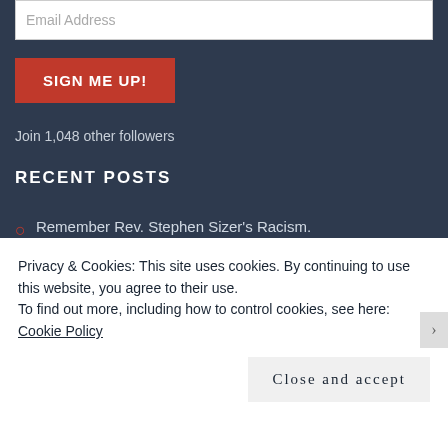Email Address
SIGN ME UP!
Join 1,048 other followers
RECENT POSTS
Remember Rev. Stephen Sizer's Racism. 03/02/2015
Racism, Tracts and the Stop the War Coalition 27/01/2015
IfIfP Thinking??
Privacy & Cookies: This site uses cookies. By continuing to use this website, you agree to their use.
To find out more, including how to control cookies, see here: Cookie Policy
Close and accept